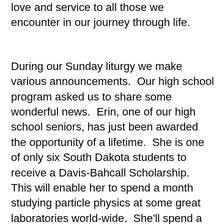love and service to all those we encounter in our journey through life.
During our Sunday liturgy we make various announcements.  Our high school program asked us to share some wonderful news.  Erin, one of our high school seniors, has just been awarded the opportunity of a lifetime.  She is one of only six South Dakota students to receive a Davis-Bahcall Scholarship.  This will enable her to spend a month studying particle physics at some great laboratories world-wide.  She'll spend a week at Sanford Labs in Lead, South Dakota, which used to be an active gold mine, and then two weeks at the Fermilabs just outside Chicago, Illinois, where the Manhattan Project was begun.  She ends the program with a visit to northern Italy where CERN's Gran Sasso lab, which houses the Large Hadron Collider, the world's largest, is housed.  The Chamberlain High School